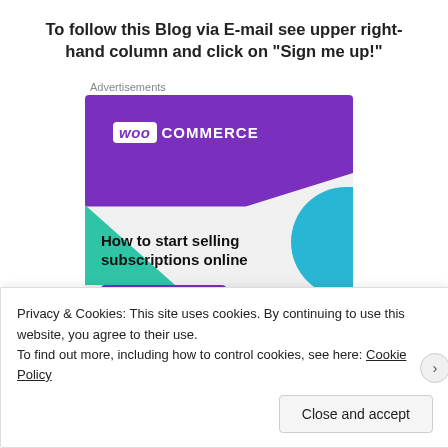To follow this Blog via E-mail see upper right-hand column and click on “Sign me up!”
Advertisements
[Figure (illustration): WooCommerce advertisement banner: purple top section with WooCommerce logo, green triangle bottom-left, cyan quarter-circle bottom-right, bold text 'How to start selling subscriptions online', purple 'Start a new store' button]
Privacy & Cookies: This site uses cookies. By continuing to use this website, you agree to their use.
To find out more, including how to control cookies, see here: Cookie Policy
Close and accept